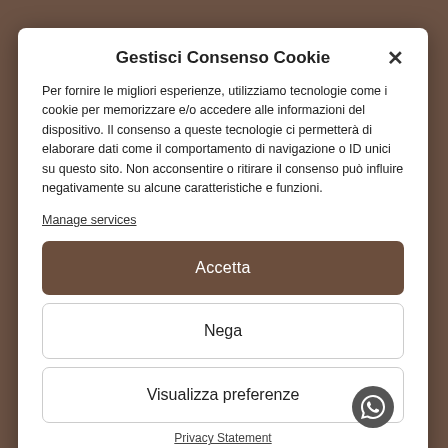Gestisci Consenso Cookie
Per fornire le migliori esperienze, utilizziamo tecnologie come i cookie per memorizzare e/o accedere alle informazioni del dispositivo. Il consenso a queste tecnologie ci permetterà di elaborare dati come il comportamento di navigazione o ID unici su questo sito. Non acconsentire o ritirare il consenso può influire negativamente su alcune caratteristiche e funzioni.
Manage services
Accetta
Nega
Visualizza preferenze
Privacy Statement